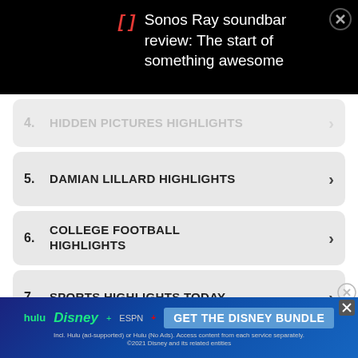Sonos Ray soundbar review: The start of something awesome
4. HIDDEN PICTURES HIGHLIGHTS
5. DAMIAN LILLARD HIGHLIGHTS
6. COLLEGE FOOTBALL HIGHLIGHTS
7. SPORTS HIGHLIGHTS TODAY
8. YOUTUBE YANKEES HIGHLIGHTS
Report an ad
[Figure (other): Disney Bundle advertisement banner with Hulu, Disney+, ESPN+ logos and 'GET THE DISNEY BUNDLE' call to action button]